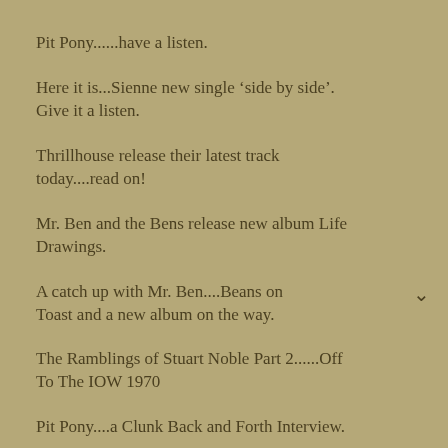Pit Pony......have a listen.
Here it is...Sienne new single ‘side by side’. Give it a listen.
Thrillhouse release their latest track today....read on!
Mr. Ben and the Bens release new album Life Drawings.
A catch up with Mr. Ben....Beans on Toast and a new album on the way.
The Ramblings of Stuart Noble Part 2......Off To The IOW 1970
Pit Pony....a Clunk Back and Forth Interview.